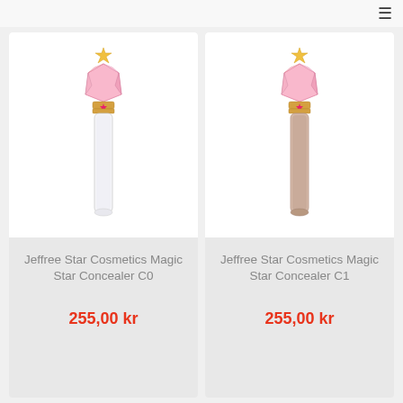[Figure (photo): Jeffree Star Cosmetics Magic Star Concealer C0 product image - a concealer bottle with pink crystal-faceted cap and gold star topper, clear/white formula visible in tube]
Jeffree Star Cosmetics Magic Star Concealer C0
255,00 kr
[Figure (photo): Jeffree Star Cosmetics Magic Star Concealer C1 product image - a concealer bottle with pink crystal-faceted cap and gold star topper, beige/taupe formula visible in tube]
Jeffree Star Cosmetics Magic Star Concealer C1
255,00 kr